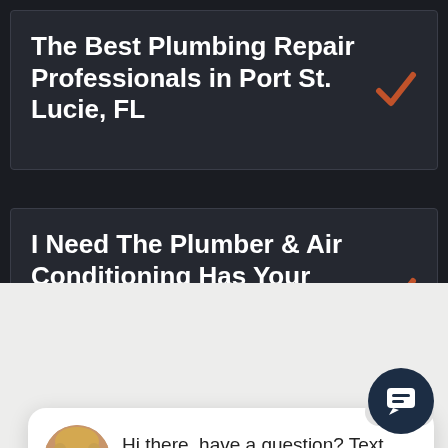The Best Plumbing Repair Professionals in Port St. Lucie, FL
I Need The Plumber & Air Conditioning Has Your Plumbing Repairs Covered
[Figure (screenshot): Chat widget with close pill button, avatar of a blonde woman, and text 'Hi there, have a question? Text us here.' with an up arrow]
[Figure (illustration): Dark navy circular chat icon button with a speech bubble icon]